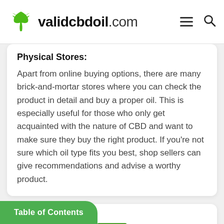validcbdoil.com
Physical Stores:
Apart from online buying options, there are many brick-and-mortar stores where you can check the product in detail and buy a proper oil. This is especially useful for those who only get acquainted with the nature of CBD and want to make sure they buy the right product. If you're not sure which oil type fits you best, shop sellers can give recommendations and advise a worthy product.
[Figure (screenshot): Partially visible bottom card section with a Club store image]
Table of Contents